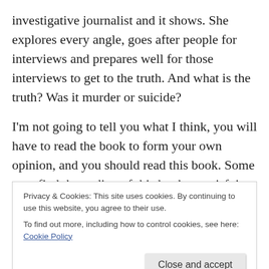investigative journalist and it shows. She explores every angle, goes after people for interviews and prepares well for those interviews to get to the truth. And what is the truth? Was it murder or suicide?
I'm not going to tell you what I think, you will have to read the book to form your own opinion, and you should read this book. Some may find the ending of this book unsatisfying, but it is what it is, the truth of the matter and not Caitlin Rother's fault. This is truly a bizarre, mystifying and at times confusing case.
Privacy & Cookies: This site uses cookies. By continuing to use this website, you agree to their use.
To find out more, including how to control cookies, see here: Cookie Policy
Close and accept
notes. If you are are a true crime fan that likes their books